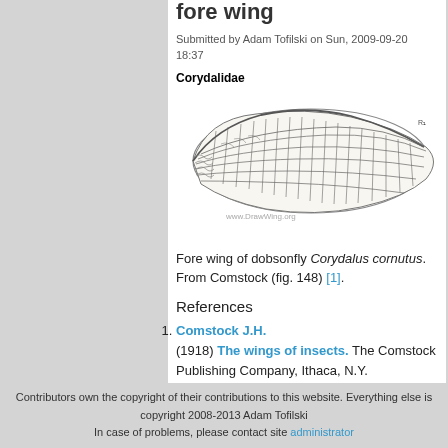fore wing
Submitted by Adam Tofilski on Sun, 2009-09-20 18:37
Corydalidae
[Figure (illustration): Line drawing of fore wing of dobsonfly Corydalus cornutus, showing detailed wing venation. Watermark: www.DrawWing.org]
Fore wing of dobsonfly Corydalus cornutus. From Comstock (fig. 148) [1].
References
Comstock J.H. (1918) The wings of insects. The Comstock Publishing Company, Ithaca, N.Y.
» Login to post comments
[Figure (logo): RSS feed icon - orange square with white RSS symbol]
Contributors own the copyright of their contributions to this website. Everything else is copyright 2008-2013 Adam Tofilski
In case of problems, please contact site administrator